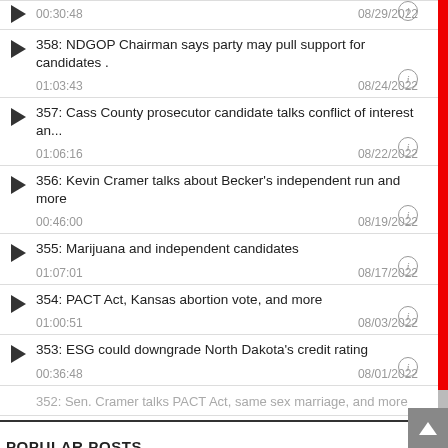00:30:48  08/29/2022
358: NDGOP Chairman says party may pull support for candidates ...  01:03:43  08/24/2022
357: Cass County prosecutor candidate talks conflict of interest an...  01:06:16  08/22/2022
356: Kevin Cramer talks about Becker's independent run and more  00:46:00  08/19/2022
355: Marijuana and independent candidates  01:07:01  08/17/2022
354: PACT Act, Kansas abortion vote, and more  01:00:51  08/03/2022
353: ESG could downgrade North Dakota's credit rating  00:36:48  08/01/2022
352: Sen. Cramer talks PACT Act, same sex marriage, and more
POPULAR POSTS